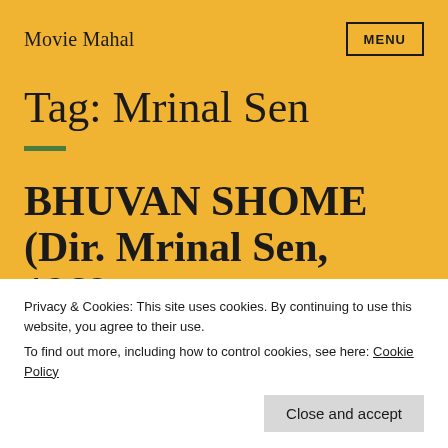Movie Mahal
Tag: Mrinal Sen
BHUVAN SHOME (Dir. Mrinal Sen, 1969, India) – 'Big Bad
Privacy & Cookies: This site uses cookies. By continuing to use this website, you agree to their use.
To find out more, including how to control cookies, see here: Cookie Policy
Close and accept